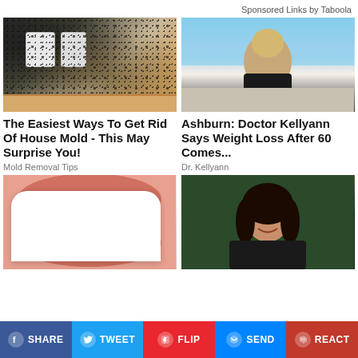Sponsored Links by Taboola
[Figure (photo): Wall with black mold and electrical outlets]
[Figure (photo): Blonde woman sitting on couch posing]
The Easiest Ways To Get Rid Of House Mold - This May Surprise You!
Mold Removal Tips
Ashburn: Doctor Kellyann Says Weight Loss After 60 Comes...
Dr. Kellyann
[Figure (photo): Close-up of white teeth]
[Figure (photo): Dark-haired woman smiling]
SHARE
TWEET
FLIP
SEND
REACT